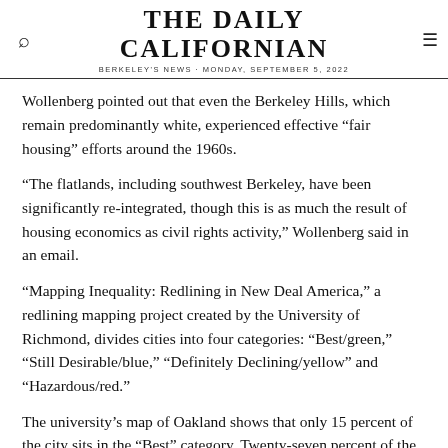THE DAILY CALIFORNIAN
BERKELEY'S NEWS · MONDAY, SEPTEMBER 5, 2022
Wollenberg pointed out that even the Berkeley Hills, which remain predominantly white, experienced effective "fair housing" efforts around the 1960s.
"The flatlands, including southwest Berkeley, have been significantly re-integrated, though this is as much the result of housing economics as civil rights activity," Wollenberg said in an email.
"Mapping Inequality: Redlining in New Deal America," a redlining mapping project created by the University of Richmond, divides cities into four categories: "Best/green," "Still Desirable/blue," "Definitely Declining/yellow" and "Hazardous/red."
The university's map of Oakland shows that only 15 percent of the city sits in the "Best" category. Twenty-seven percent of the city rests in the "Hazardous" section. In San Francisco, the inequality map shows that only 8 percent of the city rests in the "Best" category, while 31 percent of the city is considered "Hazardous."